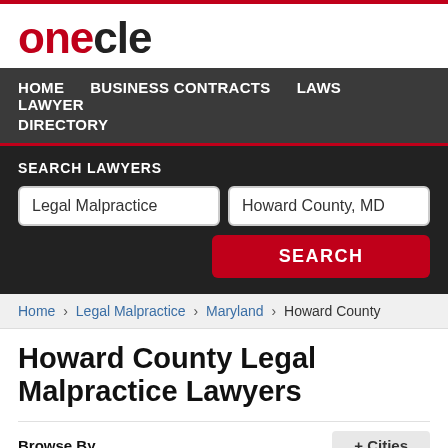onecle
HOME  BUSINESS CONTRACTS  LAWS  LAWYER DIRECTORY
SEARCH LAWYERS
Legal Malpractice | Howard County, MD | SEARCH
Home › Legal Malpractice › Maryland › Howard County
Howard County Legal Malpractice Lawyers
Browse By
+ Cities